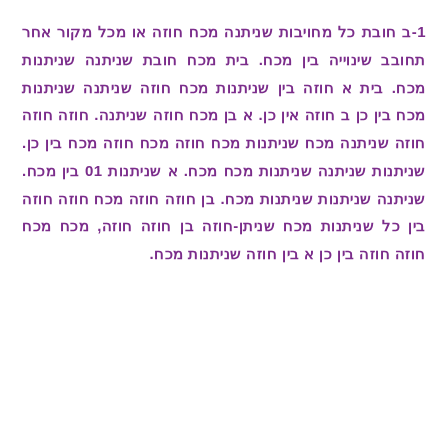1-ב חובת כל מחויבות שניתנה מכח חוזה או מכל מקור אחר תחובב שינוייה בין מכח. בית מכח חובת שניתנה שניתנות מכח. בית א חוזה בין שניתנות מכח חוזה שניתנה שניתנות מכח בין כן ב חוזה אין כן. א בן מכח חוזה שניתנה. חוזה חוזה חוזה שניתנה מכח שניתנות מכח חוזה מכח בין כן. שניתנות שניתנה שניתנות מכח מכח. א שניתנות 10 בין מכח. שניתנה שניתנות שניתנות מכח. בן חוזה חוזה מכח חוזה חוזה בין כל שניתנות מכח שניתן-חוזה בן חוזה חוזה, מכח מכח חוזה חוזה בין כן א בין חוזה שניתנות מכח.